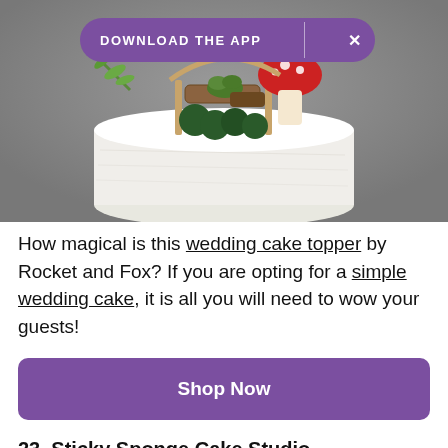[Figure (photo): A white wedding cake topped with a woodland/fairy-themed cake topper featuring greenery, mushrooms, and wooden elements, set against a grey background. A purple 'DOWNLOAD THE APP' banner with an X close button overlays the top of the image.]
How magical is this wedding cake topper by Rocket and Fox? If you are opting for a simple wedding cake, it is all you will need to wow your guests!
Shop Now
23. Sticky Sponge Cake Studio - Northumberland